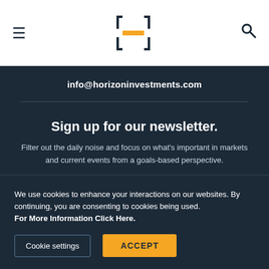[Figure (logo): Horizon Investments logo — stylized H made of bracket corners with orange horizontal bar]
info@horizoninvestments.com
Sign up for our newsletter.
Filter out the daily noise and focus on what's important in markets and current events from a goals-based perspective.
We use cookies to enhance your interactions on our websites. By continuing, you are consenting to cookies being used.
For More Information Click Here.
Cookie settings
ACCEPT